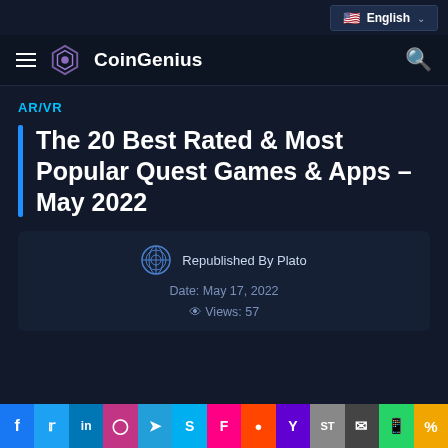English
CoinGenius
AR/VR
The 20 Best Rated & Most Popular Quest Games & Apps – May 2022
Republished By Plato
Date: May 17, 2022
Views: 57